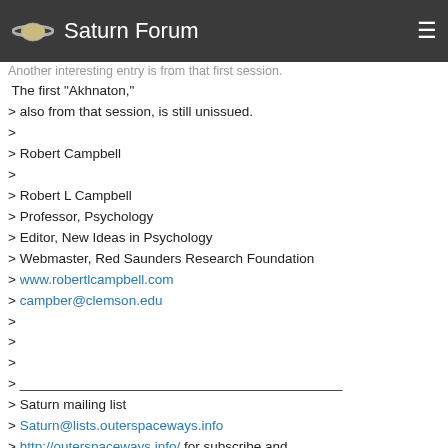Saturn Forum
> Another interesting entry is from that first session.
 The first "Akhnaton,"
> also from that session, is still unissued.
>
> Robert Campbell
>
> Robert L Campbell
> Professor, Psychology
> Editor, New Ideas in Psychology
> Webmaster, Red Saunders Research Foundation
> www.robertlcampbell.com
> campber@clemson.edu
>
>
>
> ___________________________________________
> Saturn mailing list
> Saturn@lists.outerspaceways.info
> http://outerspaceways.info/ for subscribe and unsubscribe options